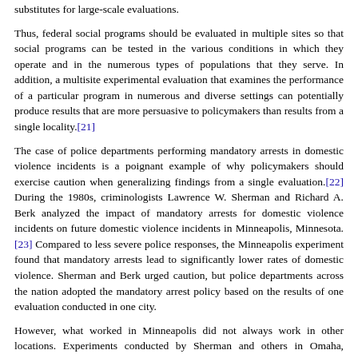substitutes for large-scale evaluations.
Thus, federal social programs should be evaluated in multiple sites so that social programs can be tested in the various conditions in which they operate and in the numerous types of populations that they serve. In addition, a multisite experimental evaluation that examines the performance of a particular program in numerous and diverse settings can potentially produce results that are more persuasive to policymakers than results from a single locality.[21]
The case of police departments performing mandatory arrests in domestic violence incidents is a poignant example of why policymakers should exercise caution when generalizing findings from a single evaluation.[22] During the 1980s, criminologists Lawrence W. Sherman and Richard A. Berk analyzed the impact of mandatory arrests for domestic violence incidents on future domestic violence incidents in Minneapolis, Minnesota.[23] Compared to less severe police responses, the Minneapolis experiment found that mandatory arrests lead to significantly lower rates of domestic violence. Sherman and Berk urged caution, but police departments across the nation adopted the mandatory arrest policy based on the results of one evaluation conducted in one city.
However, what worked in Minneapolis did not always work in other locations. Experiments conducted by Sherman and others in Omaha, Nebraska; Milwaukee, Wisconsin; Charlotte, North